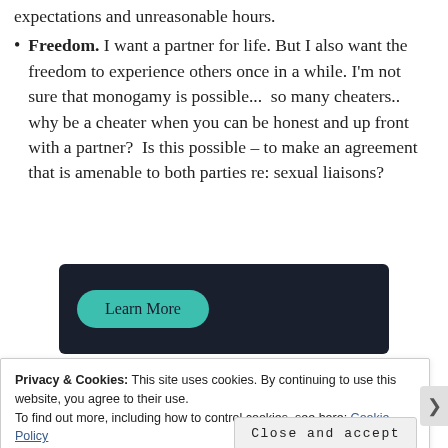expectations and unreasonable hours.
Freedom. I want a partner for life. But I also want the freedom to experience others once in a while. I'm not sure that monogamy is possible...  so many cheaters.. why be a cheater when you can be honest and up front with a partner?  Is this possible – to make an agreement that is amenable to both parties re: sexual liaisons?
[Figure (other): Dark banner advertisement with a teal 'Learn More' button]
Privacy & Cookies: This site uses cookies. By continuing to use this website, you agree to their use.
To find out more, including how to control cookies, see here: Cookie Policy
Close and accept